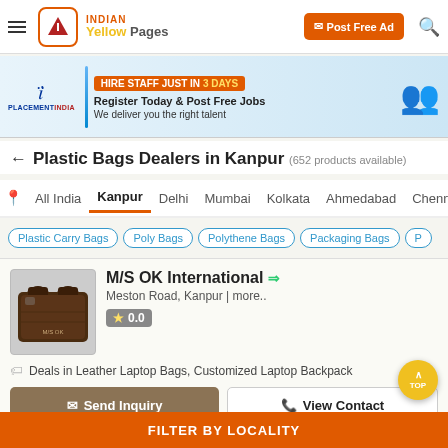Indian Yellow Pages — Post Free Ad
[Figure (illustration): PlacementIndia banner ad: HIRE STAFF JUST IN 3 DAYS — Register Today & Post Free Jobs — We deliver you the right talent]
Plastic Bags Dealers in Kanpur (652 products available)
All India | Kanpur | Delhi | Mumbai | Kolkata | Ahmedabad | Chenn...
Plastic Carry Bags | Poly Bags | Polythene Bags | Packaging Bags | P...
M/S OK International
Meston Road, Kanpur | more..
★ 0.0
Deals in Leather Laptop Bags, Customized Laptop Backpack
Send Inquiry | View Contact
FILTER BY LOCALITY